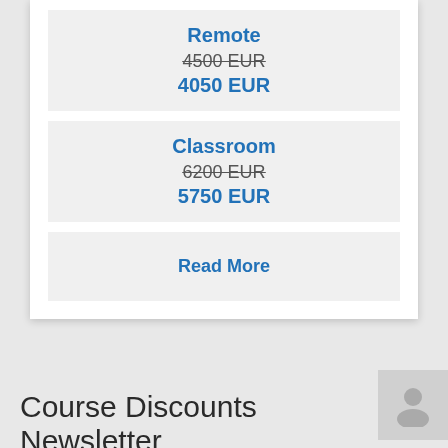Remote
4500 EUR
4050 EUR
Classroom
6200 EUR
5750 EUR
Read More
See All
Course Discounts Newsletter
We accept the minimum of course available. We will not...